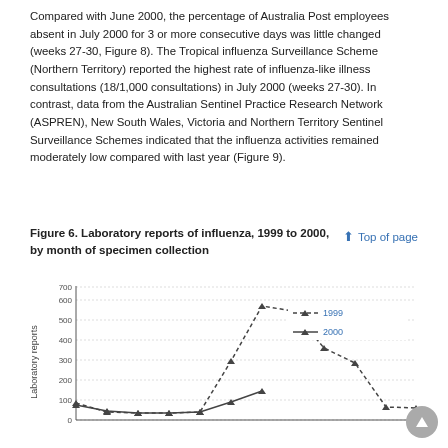Compared with June 2000, the percentage of Australia Post employees absent in July 2000 for 3 or more consecutive days was little changed (weeks 27-30, Figure 8). The Tropical influenza Surveillance Scheme (Northern Territory) reported the highest rate of influenza-like illness consultations (18/1,000 consultations) in July 2000 (weeks 27-30). In contrast, data from the Australian Sentinel Practice Research Network (ASPREN), New South Wales, Victoria and Northern Territory Sentinel Surveillance Schemes indicated that the influenza activities remained moderately low compared with last year (Figure 9).
Figure 6. Laboratory reports of influenza, 1999 to 2000, by month of specimen collection
[Figure (line-chart): Laboratory reports of influenza, 1999 to 2000, by month of specimen collection]